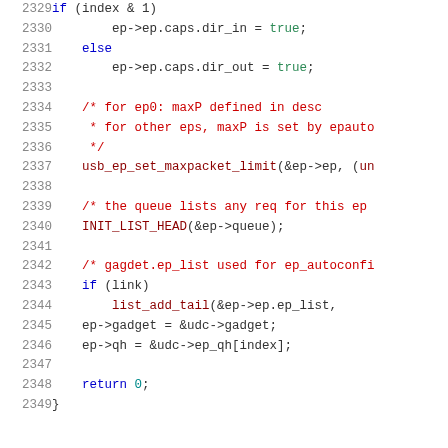[Figure (screenshot): Source code listing showing C code lines 2329-2349 with syntax highlighting. Line numbers in grey on left, code on right with keywords in blue, comments in red, string/boolean values in green.]